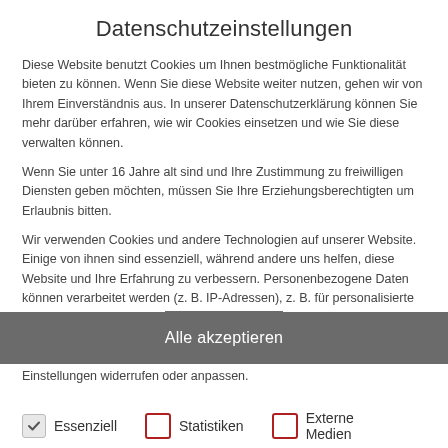Datenschutzeinstellungen
Diese Website benutzt Cookies um Ihnen bestmögliche Funktionalität bieten zu können. Wenn Sie diese Website weiter nutzen, gehen wir von Ihrem Einverständnis aus. In unserer Datenschutzerklärung können Sie mehr darüber erfahren, wie wir Cookies einsetzen und wie Sie diese verwalten können.
Wenn Sie unter 16 Jahre alt sind und Ihre Zustimmung zu freiwilligen Diensten geben möchten, müssen Sie Ihre Erziehungsberechtigten um Erlaubnis bitten.
Wir verwenden Cookies und andere Technologien auf unserer Website. Einige von ihnen sind essenziell, während andere uns helfen, diese Website und Ihre Erfahrung zu verbessern. Personenbezogene Daten können verarbeitet werden (z. B. IP-Adressen), z. B. für personalisierte Anzeigen und Inhalte oder Anzeigen- und Inhaltsmessung. Weitere Informationen über die Verwendung Ihrer Daten finden Sie in unserer Datenschutzerklärung. Sie können Ihre Auswahl jederzeit unter Einstellungen widerrufen oder anpassen.
Essenziell
Statistiken
Externe Medien
Alle akzeptieren
The also 3. Regensburg Fankler also is made easy reach.
The legal and tax due diligences for the buyer side were